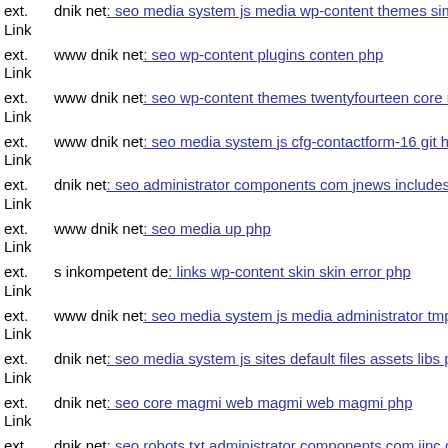ext. Link dnik net: seo media system js media wp-content themes simpl...
ext. Link www dnik net: seo wp-content plugins conten php
ext. Link www dnik net: seo wp-content themes twentyfourteen core ren...
ext. Link www dnik net: seo media system js cfg-contactform-16 git hea...
ext. Link dnik net: seo administrator components com jnews includes op...
ext. Link www dnik net: seo media up php
ext. Link s inkompetent de: links wp-content skin skin error php
ext. Link www dnik net: seo media system js media administrator tmp 40...
ext. Link dnik net: seo media system js sites default files assets libs phpt...
ext. Link dnik net: seo core magmi web magmi web magmi php
ext. Link dnik net: seo robots txt administrator components com jinc clas...
ext. Link www dnik net: seo media includes media system js component...